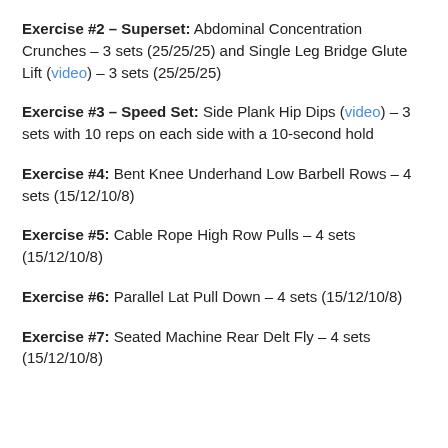Exercise #2 – Superset: Abdominal Concentration Crunches – 3 sets (25/25/25) and Single Leg Bridge Glute Lift (video) – 3 sets (25/25/25)
Exercise #3 – Speed Set: Side Plank Hip Dips (video) – 3 sets with 10 reps on each side with a 10-second hold
Exercise #4: Bent Knee Underhand Low Barbell Rows – 4 sets (15/12/10/8)
Exercise #5: Cable Rope High Row Pulls – 4 sets (15/12/10/8)
Exercise #6: Parallel Lat Pull Down – 4 sets (15/12/10/8)
Exercise #7: Seated Machine Rear Delt Fly – 4 sets (15/12/10/8)